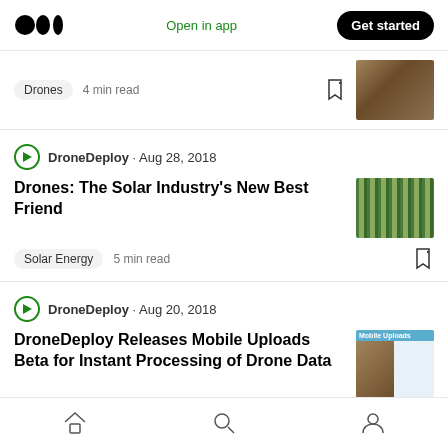Medium logo | Open in app | Get started
Drones  4 min read
DroneDeploy · Aug 28, 2018
Drones: The Solar Industry's New Best Friend
Solar Energy  5 min read
DroneDeploy · Aug 20, 2018
DroneDeploy Releases Mobile Uploads Beta for Instant Processing of Drone Data
Drones  4 min read
Home | Search | Profile